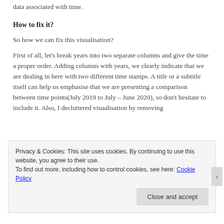data associated with time.
How to fix it?
So how we can fix this visualisation?
First of all, let's break years into two separate columns and give the time a proper order. Adding columns with years, we clearly indicate that we are dealing in here with two different time stamps. A title or a subtitle itself can help us emphasise that we are presenting a comparison between time points(July 2019 to July – June 2020), so don't hesitate to include it. Also, I decluttered visualisation by removing
Privacy & Cookies: This site uses cookies. By continuing to use this website, you agree to their use.
To find out more, including how to control cookies, see here: Cookie Policy

Close and accept